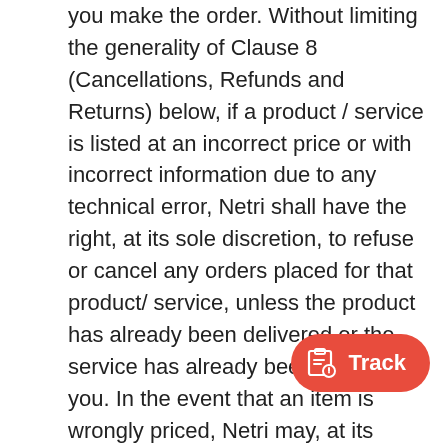you make the order. Without limiting the generality of Clause 8 (Cancellations, Refunds and Returns) below, if a product / service is listed at an incorrect price or with incorrect information due to any technical error, Netri shall have the right, at its sole discretion, to refuse or cancel any orders placed for that product/ service, unless the product has already been delivered or the service has already been availed by you. In the event that an item is wrongly priced, Netri may, at its discretion, either contact you for instructions or cancel your order and notify you of such cancellation. Unless the product ordered by you has been delivered and the services are availed, your offer will not be deemed accepted and Netri will have the right to modify the price of the product/ service and contact you for instructions using the e-mail address provided by you during the time of registration or placing of
[Figure (other): A red pill-shaped button with a tracking/location icon and the text 'Track']